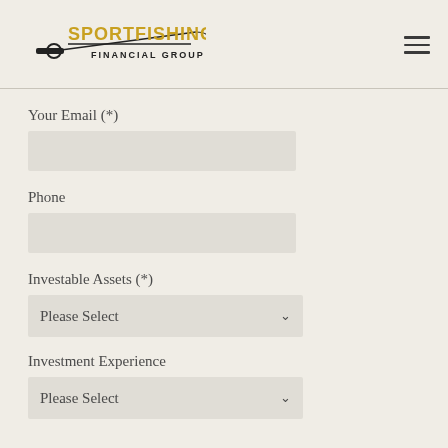[Figure (logo): Sportfishing Financial Group logo with fishing rod graphic and yellow/gold text]
Your Email (*)
Phone
Investable Assets (*)
Investment Experience